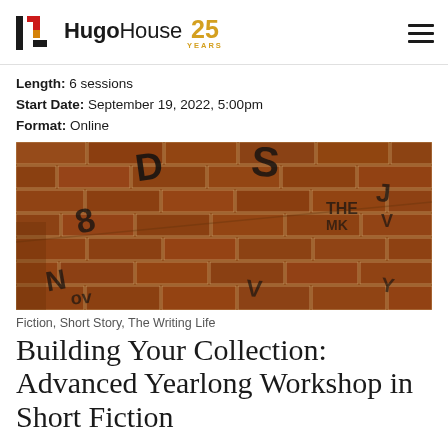Hugo House 25 YEARS
Length: 6 sessions
Start Date: September 19, 2022, 5:00pm
Format: Online
[Figure (photo): Brick wall with graffiti-style lettering written in black marker across brown clay bricks arranged in horizontal courses]
Fiction, Short Story, The Writing Life
Building Your Collection: Advanced Yearlong Workshop in Short Fiction